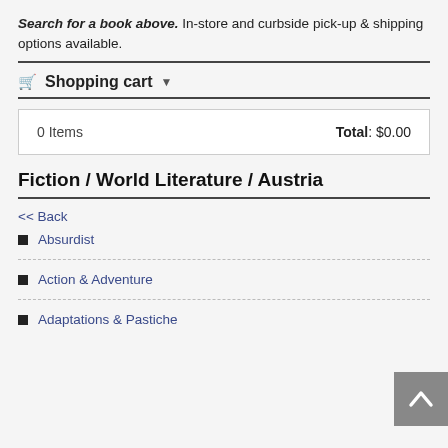Search for a book above. In-store and curbside pick-up & shipping options available.
Shopping cart ▾
| Items | Total |
| --- | --- |
| 0 Items | Total: $0.00 |
Fiction / World Literature / Austria
<< Back
Absurdist
Action & Adventure
Adaptations & Pastiche